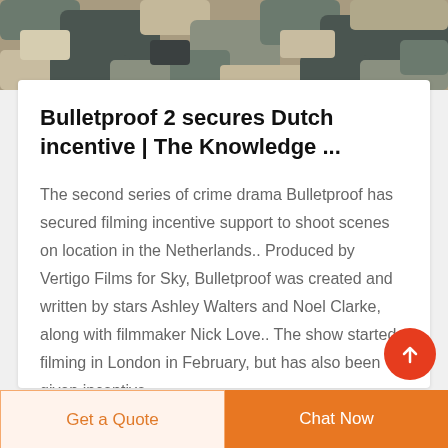[Figure (photo): Camouflage pattern image at top of page showing military/digital camo fabric in grey, beige, and dark green tones]
Bulletproof 2 secures Dutch incentive | The Knowledge ...
The second series of crime drama Bulletproof has secured filming incentive support to shoot scenes on location in the Netherlands.. Produced by Vertigo Films for Sky, Bulletproof was created and written by stars Ashley Walters and Noel Clarke, along with filmmaker Nick Love.. The show started filming in London in February, but has also been given incentive
Get a Quote
Chat Now